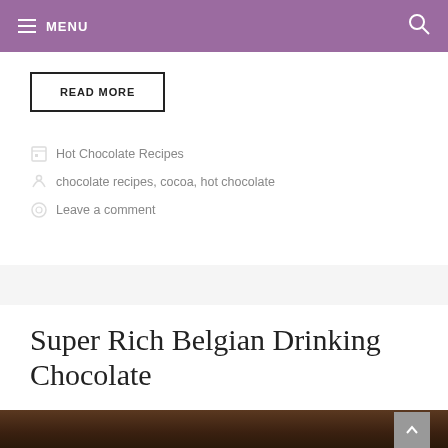MENU
READ MORE
Hot Chocolate Recipes
chocolate recipes, cocoa, hot chocolate
Leave a comment
Super Rich Belgian Drinking Chocolate
[Figure (photo): Close-up photo of a mug of rich Belgian drinking chocolate, dark brown liquid visible, partial view of a decorated mug.]